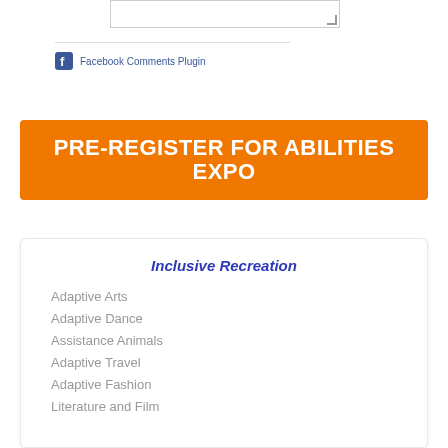[Figure (screenshot): Text area input box with resize handle]
Facebook Comments Plugin
[Figure (infographic): Orange banner button: PRE-REGISTER FOR ABILITIES EXPO]
Inclusive Recreation
Adaptive Arts
Adaptive Dance
Assistance Animals
Adaptive Travel
Adaptive Fashion
Literature and Film